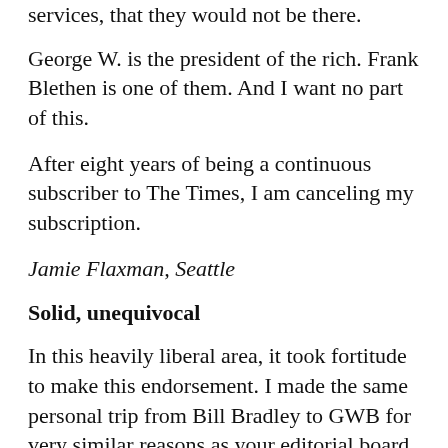services, that they would not be there.
George W. is the president of the rich. Frank Blethen is one of them. And I want no part of this.
After eight years of being a continuous subscriber to The Times, I am canceling my subscription.
Jamie Flaxman, Seattle
Solid, unequivocal
In this heavily liberal area, it took fortitude to make this endorsement. I made the same personal trip from Bill Bradley to GWB for very similar reasons as your editorial board.
Your endorsement shows a level of balance and independence often not seen in local media. For me, it adds a level of credibility that I did not associate previously with The Seattle Times.